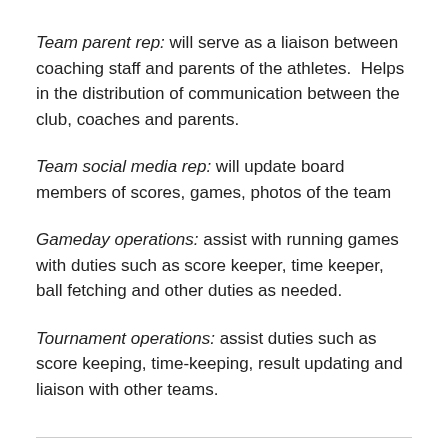Team parent rep: will serve as a liaison between coaching staff and parents of the athletes. Helps in the distribution of communication between the club, coaches and parents.
Team social media rep: will update board members of scores, games, photos of the team
Gameday operations: assist with running games with duties such as score keeper, time keeper, ball fetching and other duties as needed.
Tournament operations: assist duties such as score keeping, time-keeping, result updating and liaison with other teams.